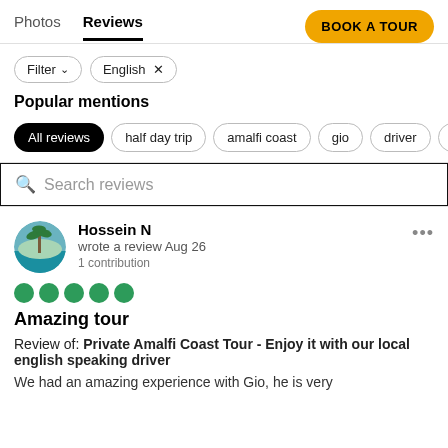Photos  Reviews  BOOK A TOUR
Filter  English ×
Popular mentions
All reviews  half day trip  amalfi coast  gio  driver  hercu
Search reviews
Hossein N
wrote a review Aug 26
1 contribution
Amazing tour
Review of: Private Amalfi Coast Tour - Enjoy it with our local english speaking driver
We had an amazing experience with Gio, he is very